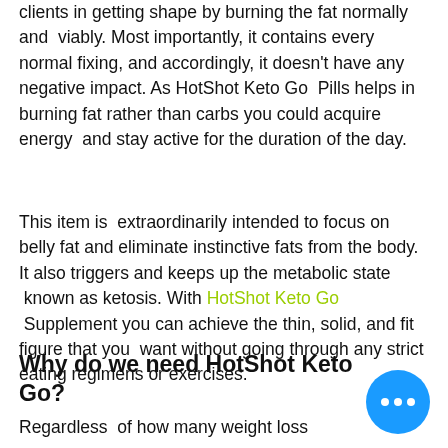clients in getting shape by burning the fat normally and viably. Most importantly, it contains every normal fixing, and accordingly, it doesn't have any negative impact. As HotShot Keto Go Pills helps in burning fat rather than carbs you could acquire energy and stay active for the duration of the day.
This item is extraordinarily intended to focus on belly fat and eliminate instinctive fats from the body. It also triggers and keeps up the metabolic state known as ketosis. With HotShot Keto Go Supplement you can achieve the thin, solid, and fit figure that you want without going through any strict eating regimens or exercises.
Why do we need HotShot Keto Go?
Regardless of how many weight loss